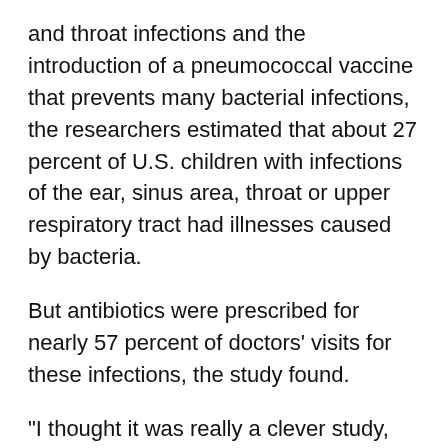and throat infections and the introduction of a pneumococcal vaccine that prevents many bacterial infections, the researchers estimated that about 27 percent of U.S. children with infections of the ear, sinus area, throat or upper respiratory tract had illnesses caused by bacteria.
But antibiotics were prescribed for nearly 57 percent of doctors' visits for these infections, the study found.
"I thought it was really a clever study, actually, to get a sense of the burden of bacterial disease and what the antibiotic usage is," said Dr. Jason Newland, medical director of patient